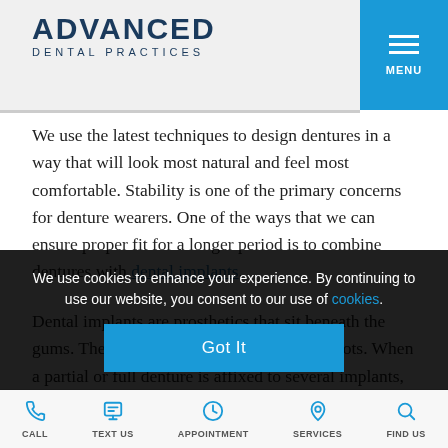ADVANCED DENTAL PRACTICES
We use the latest techniques to design dentures in a way that will look most natural and feel most comfortable. Stability is one of the primary concerns for denture wearers. One of the ways that we can ensure proper fit for a longer period is to combine dentures with dental implants.
Dental implants are prosthetics that sit beneath the gums. Their purpose is to replace missing roots. When a partial or full denture is affixed to several implants, the prosthetic gains a very natural feel. Implant-supported can cut down and be uncomfortable and discomfort caused by slipping or falling out.
We use cookies to enhance your experience. By continuing to use our website, you consent to our use of cookies. Got It
CALL | TEXT US | APPOINTMENT | SERVICES | FIND US